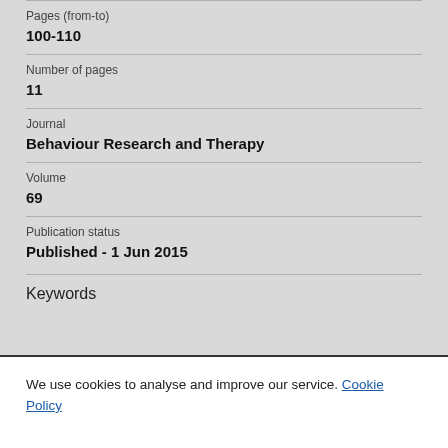Pages (from-to)
100-110
Number of pages
11
Journal
Behaviour Research and Therapy
Volume
69
Publication status
Published - 1 Jun 2015
Keywords
We use cookies to analyse and improve our service. Cookie Policy